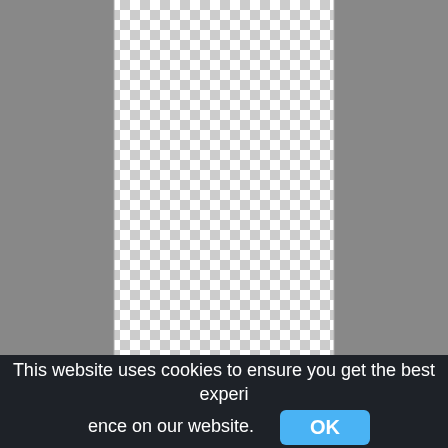[Figure (other): Transparent checkerboard pattern (alpha background) showing a blank/transparent image area for a moon PNG image]
man in the moon full moon drawing half moon png
This website uses cookies to ensure you get the best experience on our website.  OK